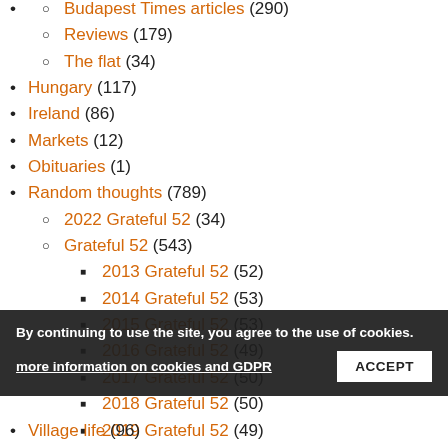Budapest Times articles (290)
Reviews (179)
The flat (34)
Hungary (117)
Ireland (86)
Markets (12)
Obituaries (1)
Random thoughts (789)
2022 Grateful 52 (34)
Grateful 52 (543)
2013 Grateful 52 (52)
2014 Grateful 52 (53)
2015 Grateful 52 (53)
2016 Grateful 52 (49)
2017 Grateful 52 (50)
2018 Grateful 52 (50)
2019 Grateful 52 (49)
2020 Grateful 52 (52)
Village life (96)
By continuing to use the site, you agree to the use of cookies. more information on cookies and GDPR ACCEPT